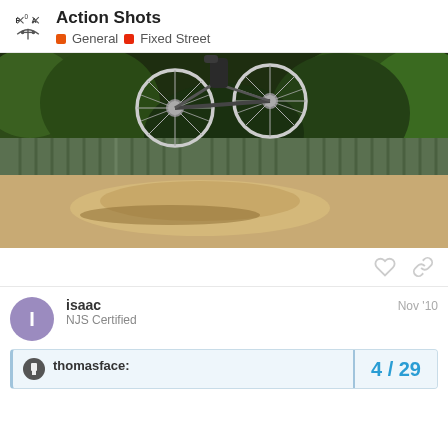Action Shots — General / Fixed Street
[Figure (photo): A bicycle airborne above a dirt mound, green trees and corrugated fence in background, outdoor dirt area]
isaac  NJS Certified  Nov '10
thomasface:  4 / 29